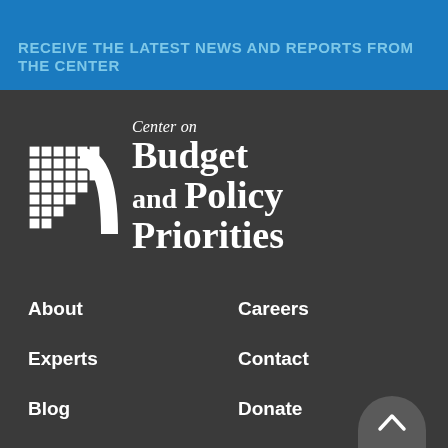RECEIVE THE LATEST NEWS AND REPORTS FROM THE CENTER
[Figure (logo): Center on Budget and Policy Priorities logo — white grid/arc graphic with text]
About
Careers
Experts
Contact
Blog
Donate
Press